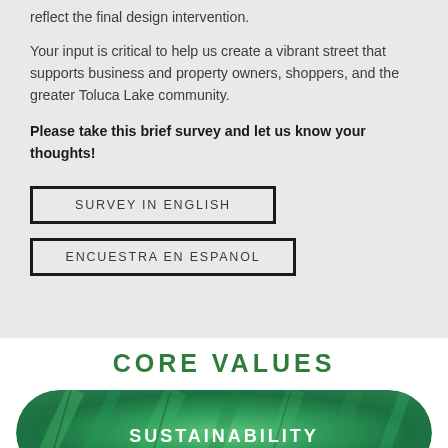reflect the final design intervention.
Your input is critical to help us create a vibrant street that supports business and property owners, shoppers, and the greater Toluca Lake community.
Please take this brief survey and let us know your thoughts!
SURVEY IN ENGLISH
ENCUESTRA EN ESPANOL
CORE VALUES
[Figure (illustration): Green rounded pill/banner with leaf background texture and text SUSTAINABILITY]
[Figure (illustration): Gray rounded pill/banner partially visible with text ECONOMIC]